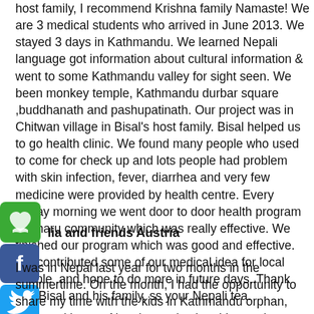host family, I recommend Krishna family Namaste! We are 3 medical students who arrived in June 2013. We stayed 3 days in Kathmandu. We learned Nepali language got information about cultural information & went to some Kathmandu valley for sight seen. We been monkey temple, Kathmandu durbar square ,buddhanath and pashupatinath. Our project was in Chitwan village in Bisal's host family. Bisal helped us to go health clinic. We found many people who used to come for check up and lots people had problem with skin infection, fever, diarrhea and very few medicine were provided by health centre. Every Friday morning we went door to door health program for tharu community which was really effective. We finished our program which was good and effective. We contributed some of our medical idea for local people .and hope to do more in future days..Thank you Bisal and his family, ss your Nepali tea.
[Figure (other): Green social sharing icon with heart/hands symbol]
Julia and friends Austria
[Figure (other): Column of social media icons: Facebook, Twitter, YouTube, Instagram, LinkedIn]
I was in Nepal last year for two months in the summertime. On the month, I had the opportunity to share my time with the kids in Kathmandu orphan, managed by pvn Nepal organization. I learned countless things from and about the kids. I became astonished by happiness and energy that they irradiated despite their past.